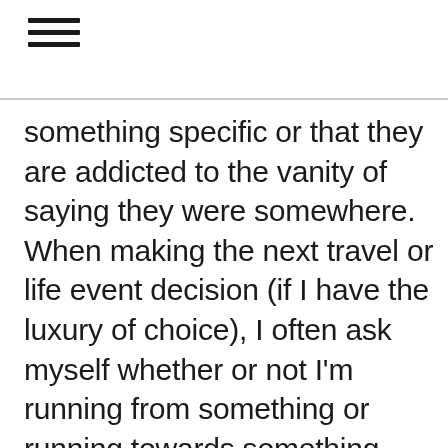≡
something specific or that they are addicted to the vanity of saying they were somewhere. When making the next travel or life event decision (if I have the luxury of choice), I often ask myself whether or not I'm running from something or running towards something. There usually isn't a correct answer, but instead, it is a quick check to ground myself in the intentions of what I'm doing. If